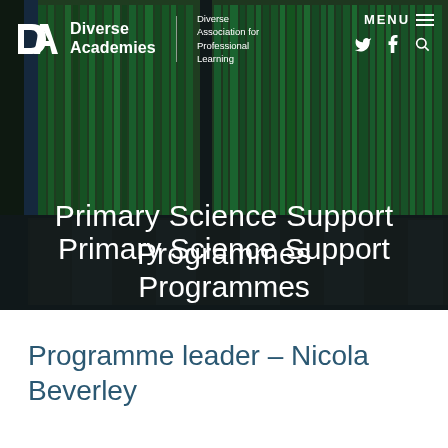[Figure (screenshot): Website header screenshot showing Diverse Academies logo with 'Diverse Association for Professional Learning' tagline, navigation menu button, social media icons (Twitter, Facebook, Search), and a hero background image of colourful vertical filing folders with dark overlay]
Primary Science Support Programmes
Programme leader – Nicola Beverley